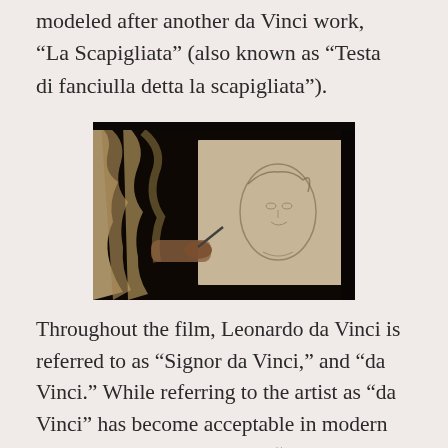modeled after another da Vinci work, “La Scapigliata” (also known as “Testa di fanciulla detta la scapigliata”).
[Figure (photo): A person with long curly hair drawing or sketching a face on a canvas or board, photographed in dim lighting.]
Throughout the film, Leonardo da Vinci is referred to as “Signor da Vinci,” and “da Vinci.” While referring to the artist as “da Vinci” has become acceptable in modern vernacular, the term means “From Vinci,” and is not a surname. Da Vinci would not have been used alone to refer to Leonardo